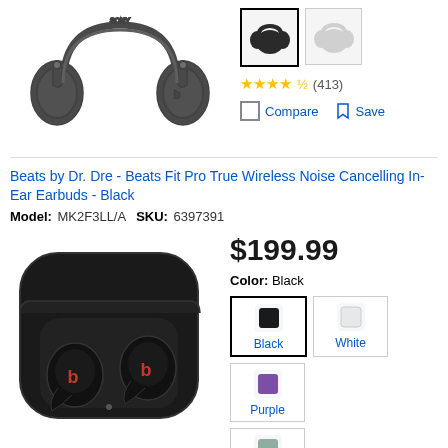[Figure (photo): Black over-ear headphones (Sony WH-1000XM5 style) on white background]
[Figure (photo): Color swatch thumbnails: black headphones (selected), white headphones]
★★★★½ (413)
Compare   Save
Beats by Dr. Dre - Beats Fit Pro True Wireless Noise Cancelling In-Ear Earbuds - Black
Model: MK2F3LL/A   SKU: 6397391
[Figure (photo): Black Beats Fit Pro true wireless earbuds in charging case, on white background]
$199.99
Color: Black
Black  White  Purple  Sage Gray
★★★★½ (2,376)